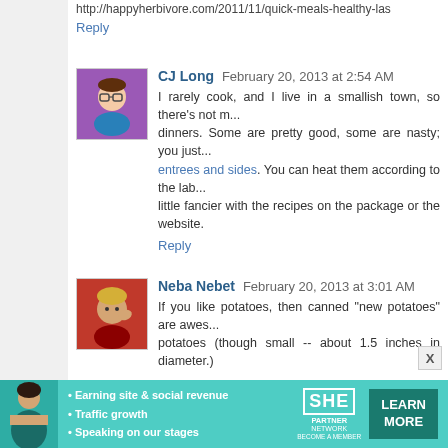http://happyherbivore.com/2011/11/quick-meals-healthy-las...
Reply
CJ Long  February 20, 2013 at 2:54 AM
I rarely cook, and I live in a smallish town, so there's not m... dinners. Some are pretty good, some are nasty; you just... entrees and sides. You can heat them according to the lab... little fancier with the recipes on the package or the website.
Reply
Neba Nebet  February 20, 2013 at 3:01 AM
If you like potatoes, then canned "new potatoes" are awes... potatoes (though small -- about 1.5 inches in diameter.)

When I was living in the dorms, I used to keep them arou... add some shredded cheese and chili, pop in microwave un... cream. :)

There are lots of other good things available in the canned... frozen meats that only require defrosting, as well.

I also second the microwaved quesadillas. We like ou...
[Figure (infographic): SHE Partner Network advertisement banner with photo of woman, bullet points about earning site, traffic growth, speaking on stages, SHE logo, and Learn More button]